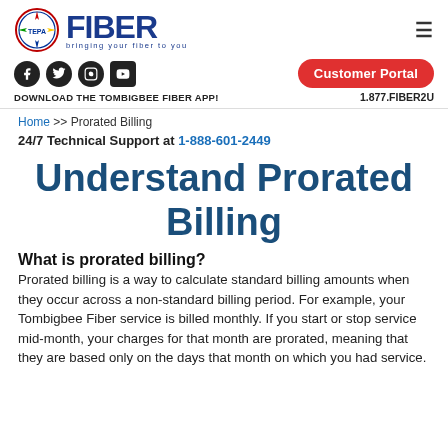[Figure (logo): Tombigbee Electric Power Association circular logo with FIBER text and tagline 'bringing your fiber to you']
[Figure (infographic): Social media icons: Facebook, Twitter, Instagram, YouTube; Customer Portal button; app download text; phone number 1.877.FIBER2U]
Home >> Prorated Billing
24/7 Technical Support at 1-888-601-2449
Understand Prorated Billing
What is prorated billing?
Prorated billing is a way to calculate standard billing amounts when they occur across a non-standard billing period. For example, your Tombigbee Fiber service is billed monthly. If you start or stop service mid-month, your charges for that month are prorated, meaning that they are based only on the days that month on which you had service.